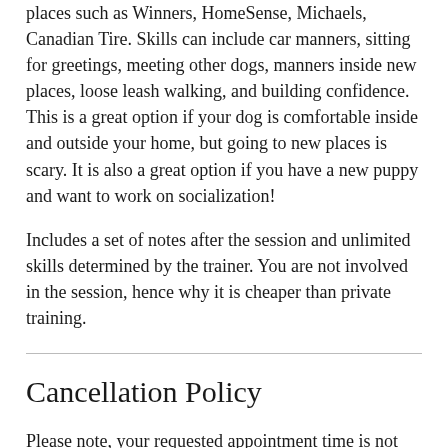places such as Winners, HomeSense, Michaels, Canadian Tire. Skills can include car manners, sitting for greetings, meeting other dogs, manners inside new places, loose leash walking, and building confidence. This is a great option if your dog is comfortable inside and outside your home, but going to new places is scary. It is also a great option if you have a new puppy and want to work on socialization!
Includes a set of notes after the session and unlimited skills determined by the trainer. You are not involved in the session, hence why it is cheaper than private training.
Cancellation Policy
Please note, your requested appointment time is not confirmed until you receive a confirmation email from me.